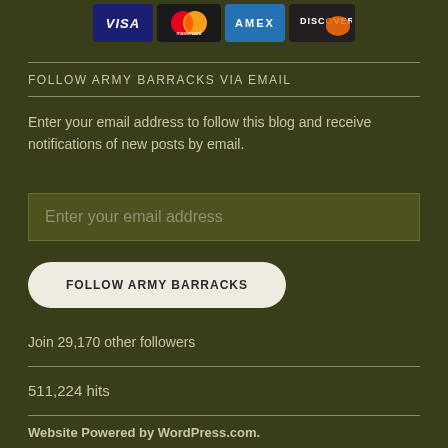[Figure (logo): Credit card logos: VISA, Mastercard, AMEX, Discover]
FOLLOW ARMY BARRACKS VIA EMAIL
Enter your email address to follow this blog and receive notifications of new posts by email.
Enter your email address
FOLLOW ARMY BARRACKS
Join 29,170 other followers
511,224 hits
Website Powered by WordPress.com.